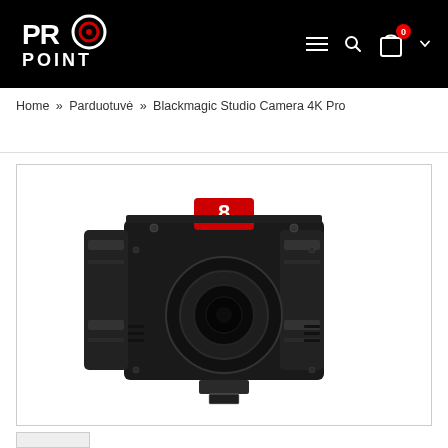PRO POINT — navigation header with logo, hamburger menu, search, and cart
Home » Parduotuvė » Blackmagic Studio Camera 4K Pro
[Figure (photo): Front-facing view of a Blackmagic Studio Camera 4K Pro. The camera body is dark/black with a rectangular form factor, horizontal side handles, a central lens mount with a circular lens, and a red tally light block on top displaying the number 8. A quick-release plate is visible at the bottom.]